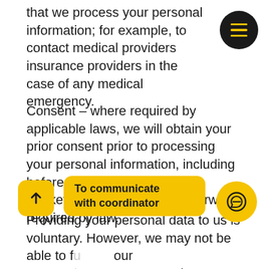that we process your personal information; for example, to contact medical providers insurance providers in the case of any medical emergency.
Consent – where required by applicable laws, we will obtain your prior consent prior to processing your personal information, including before sending you electronic marketing materials or as otherwise required by law.
Providing your personal data to us is voluntary. However, we may not be able to fulfil our reservat[ion] [experi]ence may be affected if [your] personal information is not provided. We may only be
[Figure (other): Dark circular menu button with three yellow horizontal lines (hamburger icon) in top right corner]
[Figure (other): Yellow rounded square scroll-to-top button with upward arrow icon]
To communicate with coordinator
[Figure (other): Yellow circular chat/message button with speech bubble icon]